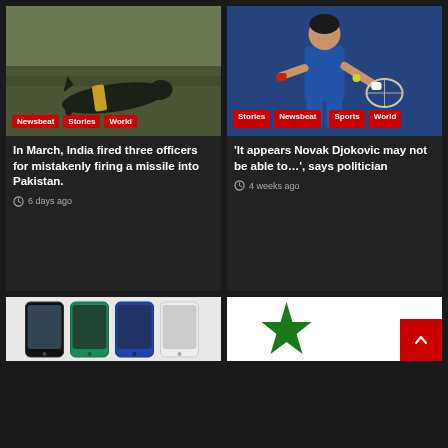[Figure (photo): Missile or projectile lying on dirt ground with yellow band]
Newsbeat  Stories  World
In March, India fired three officers for mistakenly firing a missile into Pakistan.
6 days ago
[Figure (photo): Novak Djokovic playing tennis in blue outfit]
Stories  Newsbeat  Sports  World
'It appears Novak Djokovic may not be able to…', says politician
4 weeks ago
[Figure (photo): Smartphones partially visible at bottom of page]
[Figure (photo): Flag with green star partially visible at bottom of page]